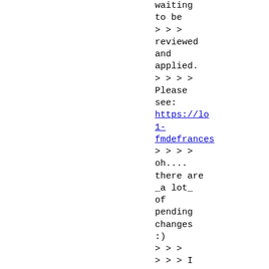waiting
to be
> > >
reviewed
and
applied.
> > > >
Please
see:
https://lo
1-
fmdefrances
> > > >
oh....
there are
_a lot_
of
pending
changes
:)
> > >
> > > I
guess, we
need smth
like
public-
mirror
with
already
reviewed